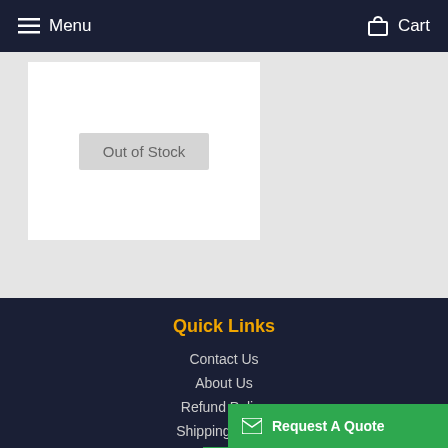Menu  Cart
Out of Stock
Quick Links
Contact Us
About Us
Refund Policy
Shipping Policy
Privacy Po...
Terms of S...
Request A Quote